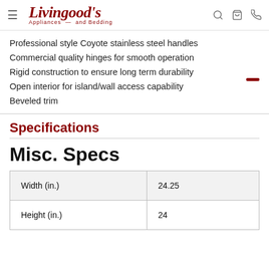Livingood's Appliances and Bedding
Professional style Coyote stainless steel handles
Commercial quality hinges for smooth operation
Rigid construction to ensure long term durability
Open interior for island/wall access capability
Beveled trim
Specifications
Misc. Specs
|  |  |
| --- | --- |
| Width (in.) | 24.25 |
| Height (in.) | 24 |